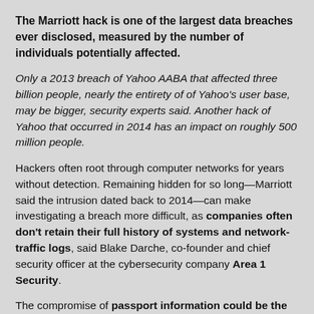The Marriott hack is one of the largest data breaches ever disclosed, measured by the number of individuals potentially affected.
Only a 2013 breach of Yahoo AABA that affected three billion people, nearly the entirety of of Yahoo's user base, may be bigger, security experts said. Another hack of Yahoo that occurred in 2014 has an impact on roughly 500 million people.
Hackers often root through computer networks for years without detection. Remaining hidden for so long—Marriott said the intrusion dated back to 2014—can make investigating a breach more difficult, as companies often don't retain their full history of systems and network-traffic logs, said Blake Darche, co-founder and chief security officer at the cybersecurity company Area 1 Security.
The compromise of passport information could be the